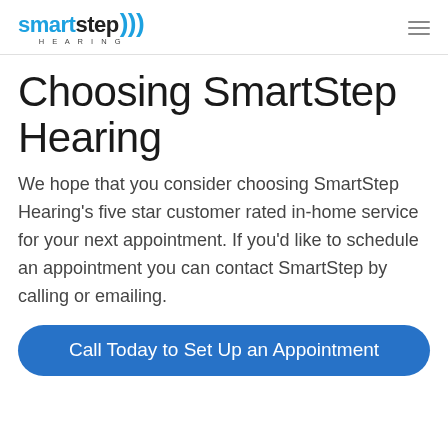smartstep HEARING
Choosing SmartStep Hearing
We hope that you consider choosing SmartStep Hearing's five star customer rated in-home service for your next appointment. If you'd like to schedule an appointment you can contact SmartStep by calling or emailing.
Call Today to Set Up an Appointment